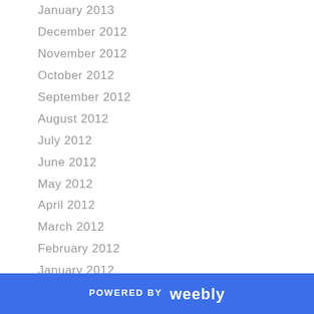January 2013
December 2012
November 2012
October 2012
September 2012
August 2012
July 2012
June 2012
May 2012
April 2012
March 2012
February 2012
January 2012
December 2011
November 2011
October 2011
September 2011
July 2011
May 2011
POWERED BY weebly